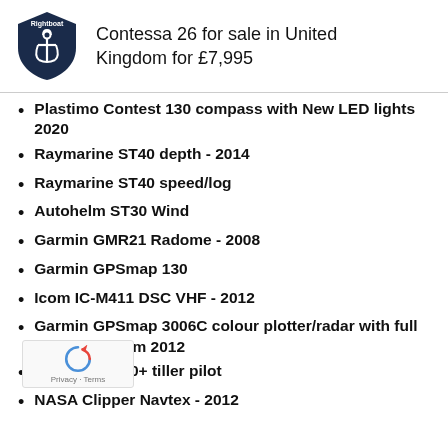Contessa 26 for sale in United Kingdom for £7,995
Plastimo Contest 130 compass with New LED lights 2020
Raymarine ST40 depth - 2014
Raymarine ST40 speed/log
Autohelm ST30 Wind
Garmin GMR21 Radome - 2008
Garmin GPSmap 130
Icom IC-M411 DSC VHF - 2012
Garmin GPSmap 3006C colour plotter/radar with full UK charts from 2012
Autohelm ST1000+ tiller pilot
NASA Clipper Navtex - 2012